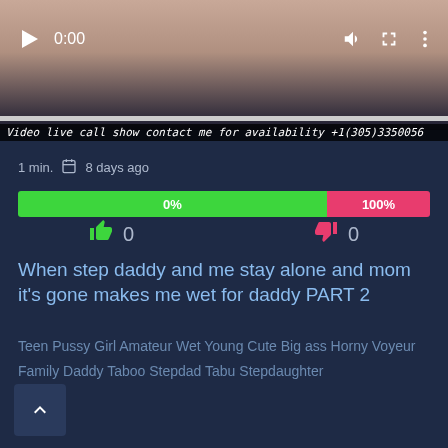[Figure (screenshot): Video player thumbnail showing a person, with play button, 0:00 timestamp, volume, fullscreen and menu icons, and a progress bar at the bottom]
Video live call show contact me for availability +1(305)3350056
1 min.   8 days ago
[Figure (infographic): Rating bar showing 0% in green on the left and 100% in red on the right]
👍 0    👎 0
When step daddy and me stay alone and mom it's gone makes me wet for daddy PART 2
Teen Pussy Girl Amateur Wet Young Cute Big ass Horny Voyeur Family Daddy Taboo Stepdad Tabu Stepdaughter